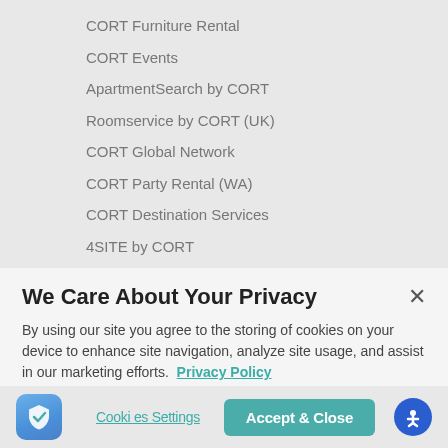CORT Furniture Rental
CORT Events
ApartmentSearch by CORT
Roomservice by CORT (UK)
CORT Global Network
CORT Party Rental (WA)
CORT Destination Services
4SITE by CORT
We Care About Your Privacy
By using our site you agree to the storing of cookies on your device to enhance site navigation, analyze site usage, and assist in our marketing efforts.  Privacy Policy
Cookies Settings
Accept & Close